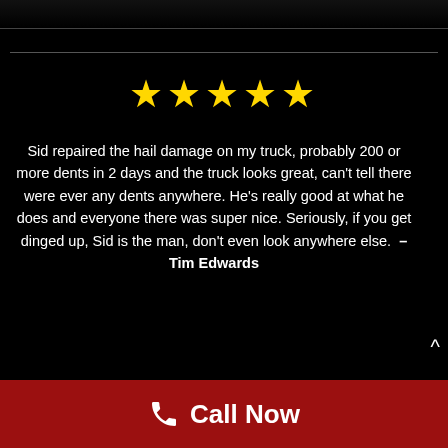[Figure (illustration): Top strip showing partial image/banner at top of page with dark background]
★★★★★
Sid repaired the hail damage on my truck, probably 200 or more dents in 2 days and the truck looks great, can't tell there were ever any dents anywhere. He's really good at what he does and everyone there was super nice. Seriously, if you get dinged up, Sid is the man, don't even look anywhere else.  – Tim Edwards
Call Now